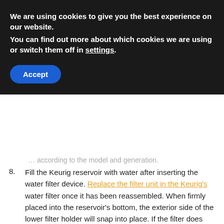We are using cookies to give you the best experience on our website.
You can find out more about which cookies we are using or switch them off in settings.
Accept
… according to the model and generation.
8. Fill the Keurig reservoir with water after inserting the water filter device. Replace the filter unit in the Keurig's water filter once it has been reassembled. When firmly placed into the reservoir's bottom, the exterior side of the lower filter holder will snap into place. If the filter does not click into place, make sure the grooves on the bottom of the lower filter holder are correctly aligned with the raised plastic on the Keurig's water reservoir …